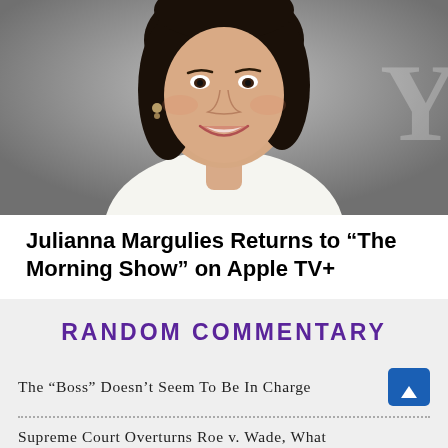[Figure (photo): Portrait photo of Julianna Margulies smiling, with dark hair, wearing a white sleeveless top, against a gray background]
Julianna Margulies Returns to “The Morning Show” on Apple TV+
RANDOM COMMENTARY
The “Boss” Doesn’t Seem To Be In Charge
Supreme Court Overturns Roe v. Wade, What